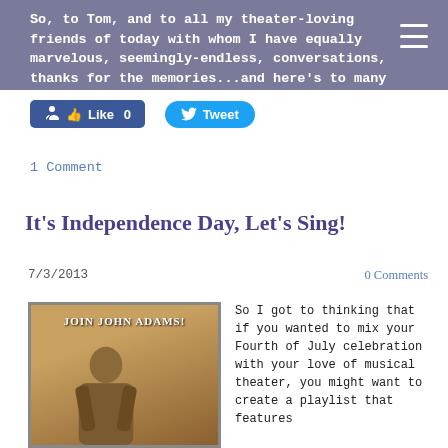So, to Tom, and to all my theater-loving friends of today with whom I have equally marvelous, seemingly-endless, conversations, thanks for the memories...and here's to many more fifths of July from which to drink!!
[Figure (screenshot): Facebook Like button showing 'Like 0' and Twitter Tweet button]
1 Comment
It's Independence Day, Let's Sing!
7/3/2013
0 Comments
[Figure (photo): Photo of a man in period costume with text 'JOIN JOHN ADAMS!' overlaid, appearing to be a theatrical or historical promotional image]
So I got to thinking that if you wanted to mix your Fourth of July celebration with your love of musical theater, you might want to create a playlist that features